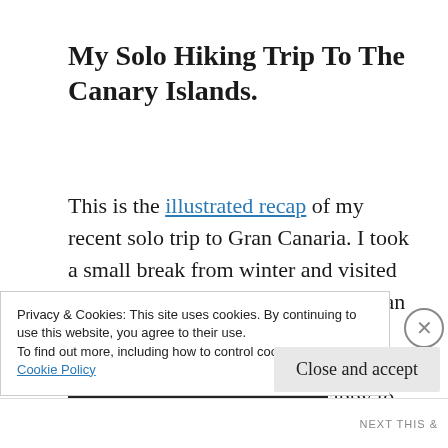My Solo Hiking Trip To The Canary Islands.
This is the illustrated recap of my recent solo trip to Gran Canaria. I took a small break from winter and visited the beautiful and sunny island of Gran Canaria. As you can tell from this drawing I enjoyed nature, the food and the lovely weather. I was so happy to be back in shorts and sandals. I also had some great
Privacy & Cookies: This site uses cookies. By continuing to use this website, you agree to their use.
To find out more, including how to control cookies, see here:
Cookie Policy
Close and accept